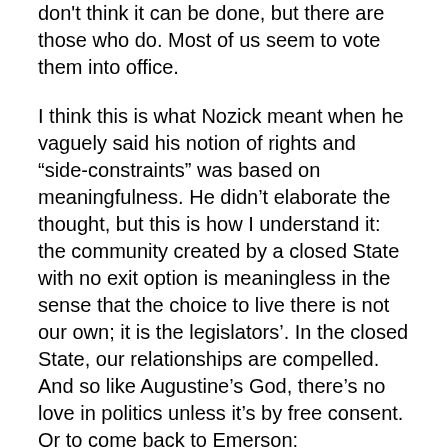don't think it can be done, but there are those who do. Most of us seem to vote them into office.
I think this is what Nozick meant when he vaguely said his notion of rights and “side-constraints” was based on meaningfulness. He didn’t elaborate the thought, but this is how I understand it: the community created by a closed State with no exit option is meaningless in the sense that the choice to live there is not our own; it is the legislators’. In the closed State, our relationships are compelled. And so like Augustine’s God, there’s no love in politics unless it’s by free consent. Or to come back to Emerson:
Whilst I do what is fit for me, and abstain from what is unfit, my neighbor and I shall often agree in our means, and work together for a time to one end. But whenever I find my dominion over myself not sufficient for me, and